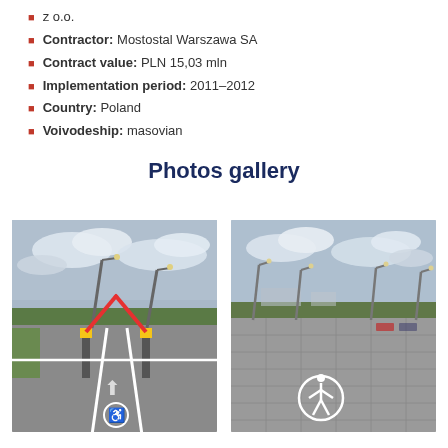z o.o.
Contractor: Mostostal Warszawa SA
Contract value: PLN 15,03 mln
Implementation period: 2011–2012
Country: Poland
Voivodeship: masovian
Photos gallery
[Figure (photo): Parking lot entrance with barrier gates (booms raised), street lights, cloudy sky, paved road with arrow markings and disabled parking symbol]
[Figure (photo): Wide open parking lot with disabled parking symbol on paved surface, street lights, trees and buildings in background, cloudy sky]